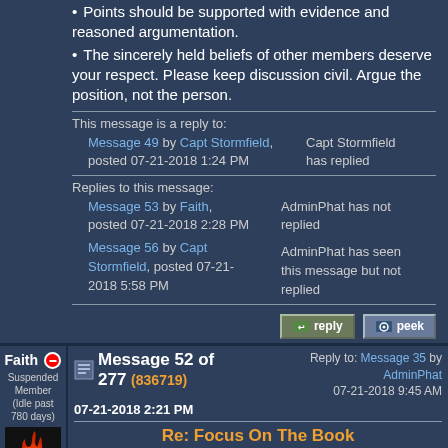Points should be supported with evidence and reasoned argumentation.
The sincerely held beliefs of other members deserve your respect. Please keep discussion civil. Argue the position, not the person.
This message is a reply to:
Message 49 by Capt Stormfield, posted 07-21-2018 1:24 PM | Capt Stormfield has replied
Replies to this message:
Message 53 by Faith, posted 07-21-2018 2:28 PM | AdminPhat has not replied
Message 56 by Capt Stormfield, posted 07-21-2018 5:58 PM | AdminPhat has seen this message but not replied
Faith Suspended Member (Idle past 780 days)
Message 52 of 277 (836719) 07-21-2018 2:21 PM | Reply to: Message 35 by AdminPhat 07-21-2018 9:45 AM
Re: Focus On The Book
If you're going to "ahem" me for finally